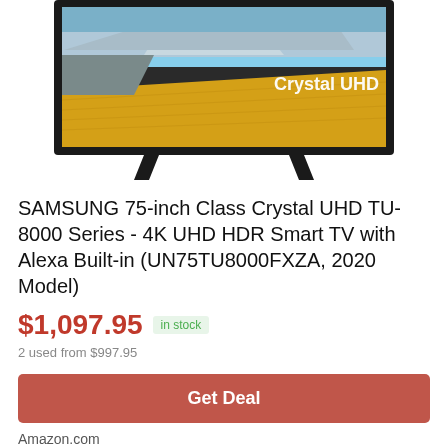[Figure (photo): Samsung 75-inch Crystal UHD TV shown on stand with 'Crystal UHD' text overlay on screen showing mountain landscape]
SAMSUNG 75-inch Class Crystal UHD TU-8000 Series - 4K UHD HDR Smart TV with Alexa Built-in (UN75TU8000FXZA, 2020 Model)
$1,097.95  in stock
2 used from $997.95
Get Deal
Amazon.com